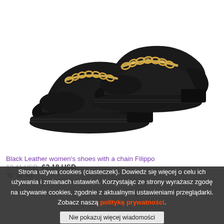[Figure (photo): A pair of black leather women's loafers with chunky soles and a gold chain decoration across the vamp, displayed on a white background.]
Black Leather women's shoes with a chain Filippo
63,41 USD 62,18 USD
36 ... 38 ... 40
Strona używa cookies (ciasteczek). Dowiedz się więcej o celu ich używania i zmianach ustawień. Korzystając ze strony wyrażasz zgodę na używanie cookies, zgodnie z aktualnymi ustawieniami przeglądarki. Zobacz naszą politykę prywatności.
Nie pokazuj więcej wiadomości